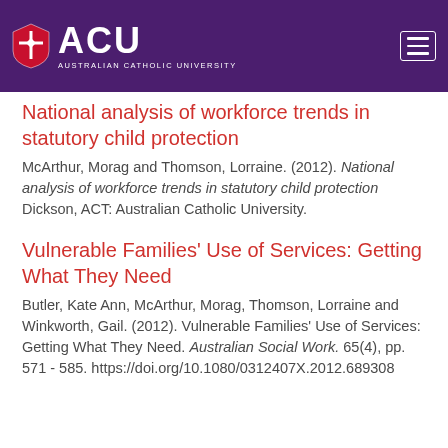ACU AUSTRALIAN CATHOLIC UNIVERSITY
National analysis of workforce trends in statutory child protection
McArthur, Morag and Thomson, Lorraine. (2012). National analysis of workforce trends in statutory child protection Dickson, ACT: Australian Catholic University.
Vulnerable Families' Use of Services: Getting What They Need
Butler, Kate Ann, McArthur, Morag, Thomson, Lorraine and Winkworth, Gail. (2012). Vulnerable Families' Use of Services: Getting What They Need. Australian Social Work. 65(4), pp. 571 - 585. https://doi.org/10.1080/0312407X.2012.689308